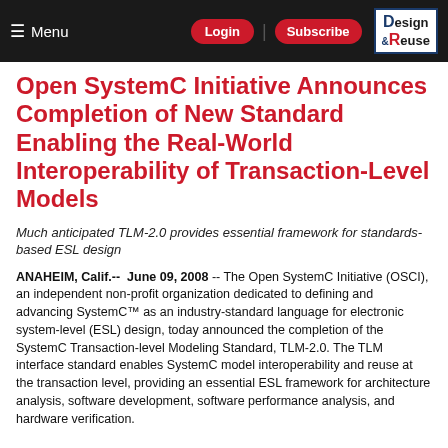Menu | Login | Subscribe | Design & Reuse
Open SystemC Initiative Announces Completion of New Standard Enabling the Real-World Interoperability of Transaction-Level Models
Much anticipated TLM-2.0 provides essential framework for standards-based ESL design
ANAHEIM, Calif.--  June 09, 2008 -- The Open SystemC Initiative (OSCI), an independent non-profit organization dedicated to defining and advancing SystemC™ as an industry-standard language for electronic system-level (ESL) design, today announced the completion of the SystemC Transaction-level Modeling Standard, TLM-2.0. The TLM interface standard enables SystemC model interoperability and reuse at the transaction level, providing an essential ESL framework for architecture analysis, software development, software performance analysis, and hardware verification.